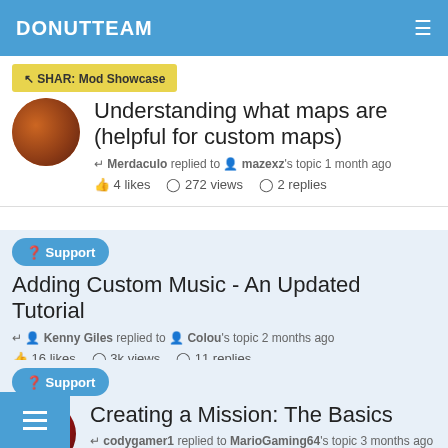DONUTTEAM
🖳 SHAR: Mod Showcase
Understanding what maps are (helpful for custom maps)
Merdaculo replied to mazexz's topic 1 month ago
4 likes  272 views  2 replies
? Support
Adding Custom Music - An Updated Tutorial
Kenny Giles replied to Colou's topic 2 months ago
16 likes  3k views  11 replies
? Support
Creating a Mission: The Basics
codygamer1 replied to MarioGaming64's topic 3 months ago